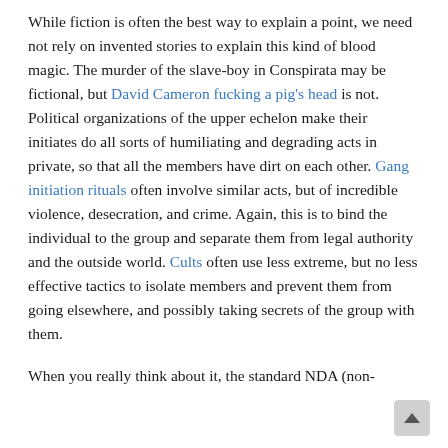While fiction is often the best way to explain a point, we need not rely on invented stories to explain this kind of blood magic. The murder of the slave-boy in Conspirata may be fictional, but David Cameron fucking a pig's head is not. Political organizations of the upper echelon make their initiates do all sorts of humiliating and degrading acts in private, so that all the members have dirt on each other. Gang initiation rituals often involve similar acts, but of incredible violence, desecration, and crime. Again, this is to bind the individual to the group and separate them from legal authority and the outside world. Cults often use less extreme, but no less effective tactics to isolate members and prevent them from going elsewhere, and possibly taking secrets of the group with them.
When you really think about it, the standard NDA (non-